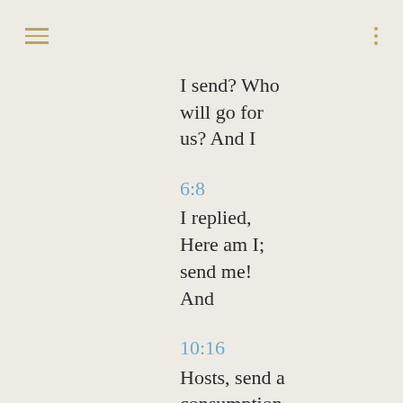I send? Who will go for us? And I
6:8
I replied, Here am I; send me! And
10:16
Hosts, send a consumption into his
16:1
Send couriers to those who rule in
19:20
he will send